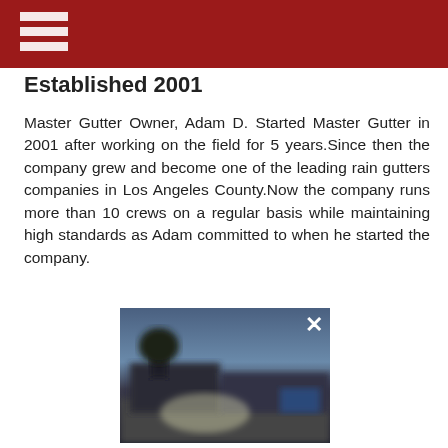Established 2001
Master Gutter Owner, Adam D. Started Master Gutter in 2001 after working on the field for 5 years.Since then the company grew and become one of the leading rain gutters companies in Los Angeles County.Now the company runs more than 10 crews on a regular basis while maintaining high standards as Adam committed to when he started the company.
[Figure (photo): Blurry outdoor photo of a building at dusk/night with a close button (×) in the top right corner]